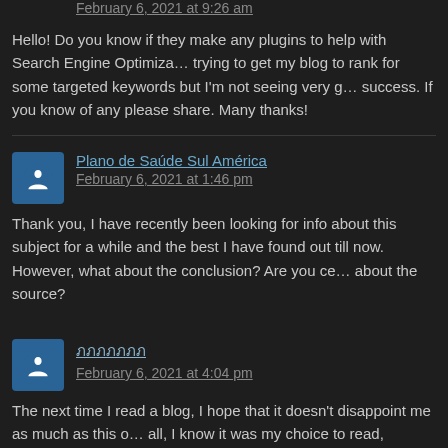February 6, 2021 at 9:26 am
Hello! Do you know if they make any plugins to help with Search Engine Optimiza... trying to get my blog to rank for some targeted keywords but I'm not seeing very g... success. If you know of any please share. Many thanks!
Plano de Saúde Sul América
February 6, 2021 at 1:46 pm
Thank you, I have recently been looking for info about this subject for a while and the best I have found out till now. However, what about the conclusion? Are you ce... about the source?
ภภภภภภภ
February 6, 2021 at 4:04 pm
The next time I read a blog, I hope that it doesn't disappoint me as much as this o... all, I know it was my choice to read, nonetheless I genuinely believed you would h... something useful to say. All I hear is a bunch of complaining about something that could possibly fix if you were not too busy seeking attention.
Auto Insurance Leads